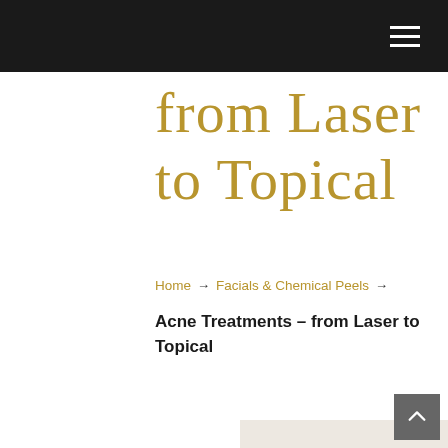[navigation bar with hamburger menu]
from Laser to Topical
Home → Facials & Chemical Peels →
Acne Treatments – from Laser to Topical
Although some think of acne as a condition primarily affecting adolescents, it affects